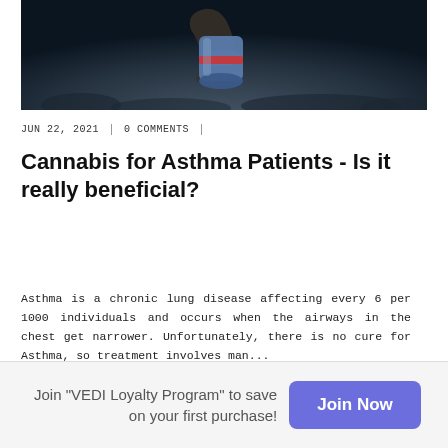[Figure (photo): Dark photograph showing a person holding what appears to be a blue cylindrical inhaler or similar medical device, with a crowd in the background]
JUN 22, 2021 | 0 COMMENTS |
Cannabis for Asthma Patients - Is it really beneficial?
Asthma is a chronic lung disease affecting every 6 per 1000 individuals and occurs when the airways in the chest get narrower. Unfortunately, there is no cure for Asthma, so treatment involves man...
Join "VEDI Loyalty Program" to save on your first purchase! Join Now